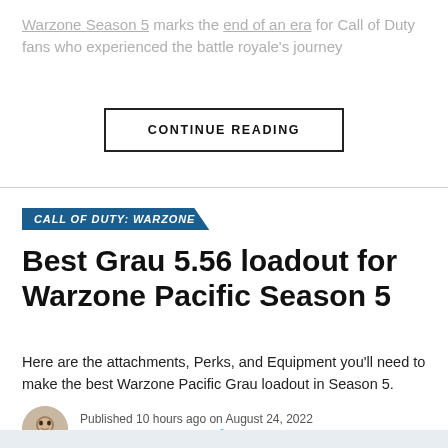Warzone Season 5 marks the end of an era for Call of Duty fans who experienced the battle royale's journey
CONTINUE READING
CALL OF DUTY: WARZONE
Best Grau 5.56 loadout for Warzone Pacific Season 5
Here are the attachments, Perks, and Equipment you'll need to make the best Warzone Pacific Grau loadout in Season 5.
Published 10 hours ago on August 24, 2022
By Andrew Highton